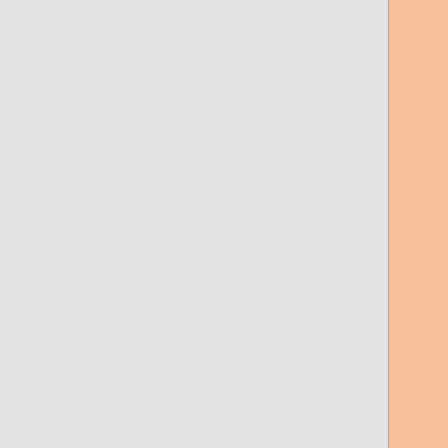Williamson, B. A. Benson, F. W. High, K. Vanderlinde, P. A. R. Ade, K. A. Aird, K. Andersson, R. Armstrong, M. L. N. Ashby, M. Bautz, G. Bazin, E. Bertin, L. E. Bleem, M. Bonamente, M. Brodwin, J. E. Carlstrom, C. L. Chang, S. C. Chapman, A. Clocchiatti, T. M. Crawford, A. T. Crites, T. de Haan, S. Desai, M. A. Dobbs, J. P. Dudley, G. G. Fazio, R. J. Foley, W. R. Forman, G. Garmire, E. M. George, M. D. Gladders, A. H. Gonzalez, N. W. Halverson, G. P. Holder, W. L. Holzapfel, S. Hoover, J. D. Hrubes, C. Jones, M. Joy, R. Keisler, L. Knox, A. T. Lee, E. M. Leitch, M. Lueker, D. Luong-Van, D. P. Marrone, J. J. McMahon, J. Mehl, S. S. Meyer, J. J. Mohr, T.